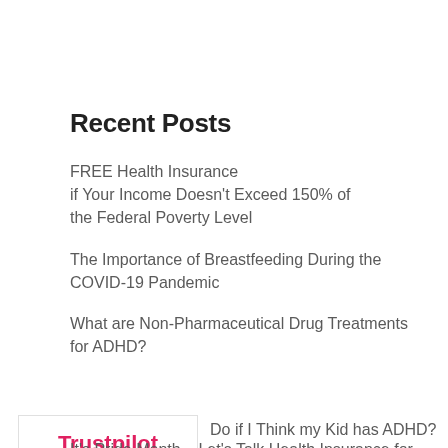Recent Posts
FREE Health Insurance if Your Income Doesn't Exceed 150% of the Federal Poverty Level
The Importance of Breastfeeding During the COVID-19 Pandemic
What are Non-Pharmaceutical Drug Treatments for ADHD?
Do if I Think my Kid has ADHD?
It's Pride Month – Let's Talk Health Insurance for
[Figure (logo): Trustpilot logo in red/pink bold text on white background with border]